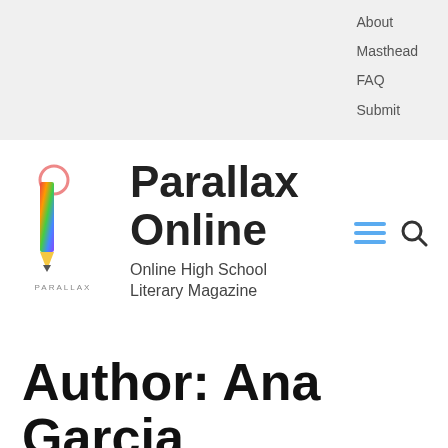About  Masthead  FAQ  Submit
[Figure (logo): Parallax Online logo: a colorful rainbow pencil/pen above the text PARALLAX in small caps]
Parallax Online
Online High School Literary Magazine
Author: Ana Garcia
A confused Mexican who is still trying to figure out something important enough to write here about herself.